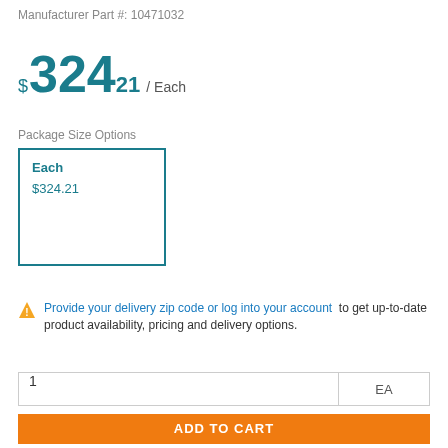Manufacturer Part #: 10471032
$324.21 / Each
Package Size Options
Each
$324.21
Provide your delivery zip code or log into your account to get up-to-date product availability, pricing and delivery options.
1  EA
ADD TO CART